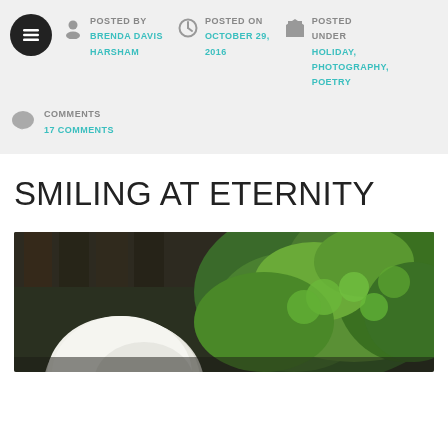POSTED BY BRENDA DAVIS HARSHAM | POSTED ON OCTOBER 29, 2016 | POSTED UNDER HOLIDAY, PHOTOGRAPHY, POETRY
COMMENTS
17 COMMENTS
SMILING AT ETERNITY
[Figure (photo): Photograph showing a large white round mushroom/puffball in the foreground, green clover-like plants in the middle ground, and dark wooden fence or structure in the background.]